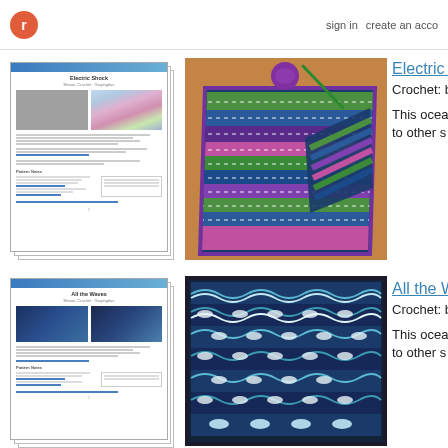r  sign in  create an acco
[Figure (photo): Pattern document thumbnail for Electric Shock crochet pattern showing stacked pages with blue header bar, gray and colorful striped pattern images]
[Figure (photo): Photo of a colorful zigzag/chevron crochet blanket in green, blue, purple and pink on a wooden floor with a ball of purple yarn and crochet hook]
Electric S
Crochet: b
This ocea to other s
[Figure (photo): Pattern document thumbnail for All the Waves crochet pattern showing stacked pages with blue header bar and ocean wave pattern images in blues]
[Figure (photo): Photo of a dark navy crochet blanket with ocean wave pattern in teal, white, and light blue on dark background]
All the Wa
Crochet: b
This ocea to other s